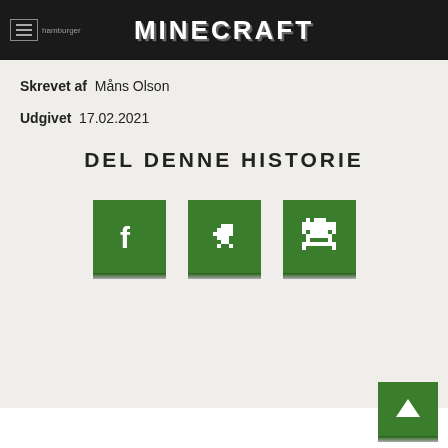hamburger  MINECRAFT
Skrevet af  Måns Olson
Udgivet  17.02.2021
DEL DENNE HISTORIE
[Figure (other): Three green social media share buttons: Facebook (f logo), Twitter (bird logo), Reddit (alien logo)]